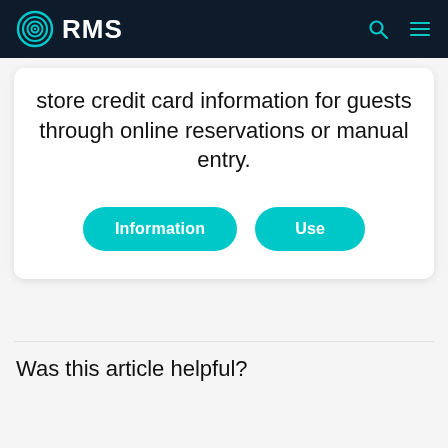RMS
store credit card information for guests through online reservations or manual entry.
[Figure (other): Two teal rounded buttons labeled 'Information' and 'Use']
Was this article helpful?